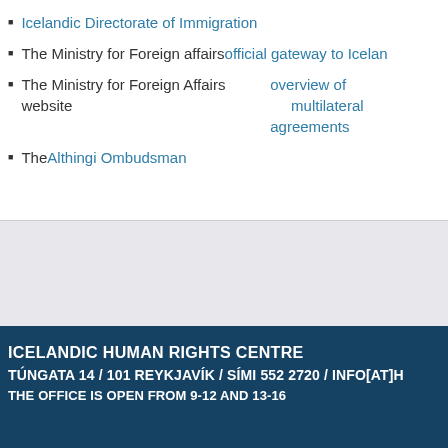Icelandic Directorate of Immigration
The Ministry for Foreign affairs official gateway to Iceland
The Ministry for Foreign Affairs website overview of multilateral agreements
The Althingi Ombudsman
ICELANDIC HUMAN RIGHTS CENTRE
TÚNGATA 14 / 101 REYKJAVÍK / SÍMI 552 2720 / INFO[AT]H
THE OFFICE IS OPEN FROM 9-12 AND 13-16